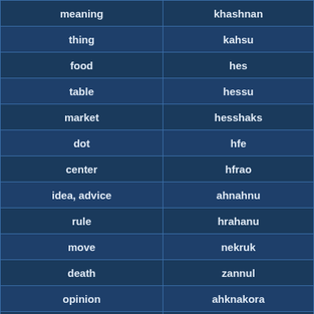| meaning | khashnan |
| thing | kahsu |
| food | hes |
| table | hessu |
| market | hesshaks |
| dot | hfe |
| center | hfrao |
| idea, advice | ahnahnu |
| rule | hrahanu |
| move | nekruk |
| death | zannul |
| opinion | ahknakora |
| speech | ahnashoshe |
| wall | oshashu |
| window | oshachezor |
| hole, passage | xzor |
| science | nehtu |